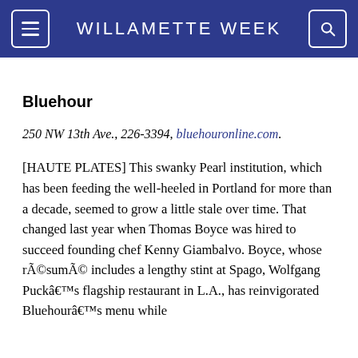WILLAMETTE WEEK
Bluehour
250 NW 13th Ave., 226-3394, bluehouronline.com.
[HAUTE PLATES] This swanky Pearl institution, which has been feeding the well-heeled in Portland for more than a decade, seemed to grow a little stale over time. That changed last year when Thomas Boyce was hired to succeed founding chef Kenny Giambalvo. Boyce, whose résumé includes a lengthy stint at Spago, Wolfgang Puckâs flagship restaurant in L.A., has reinvigorated Bluehourâs menu while